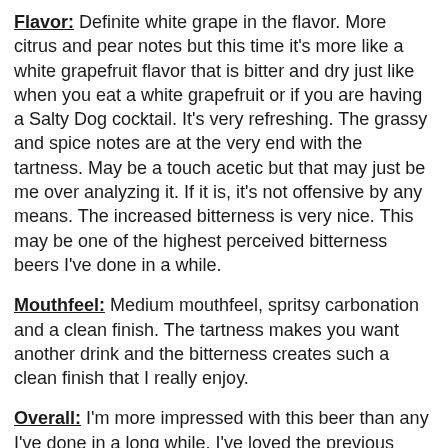Flavor: Definite white grape in the flavor. More citrus and pear notes but this time it's more like a white grapefruit flavor that is bitter and dry just like when you eat a white grapefruit or if you are having a Salty Dog cocktail. It's very refreshing. The grassy and spice notes are at the very end with the tartness. May be a touch acetic but that may just be me over analyzing it. If it is, it's not offensive by any means. The increased bitterness is very nice. This may be one of the highest perceived bitterness beers I've done in a while.
Mouthfeel: Medium mouthfeel, spritsy carbonation and a clean finish. The tartness makes you want another drink and the bitterness creates such a clean finish that I really enjoy.
Overall: I'm more impressed with this beer than any I've done in a long while. I've loved the previous batches of Kathleen but this one really shines above the rest. Increasing the bitterness a bit, adding more hops, and dry hopping generously has really made a beer that resembles the previous batches but has even more in flavor and aroma. I really enjoy the increase in bitterness. It adds to the